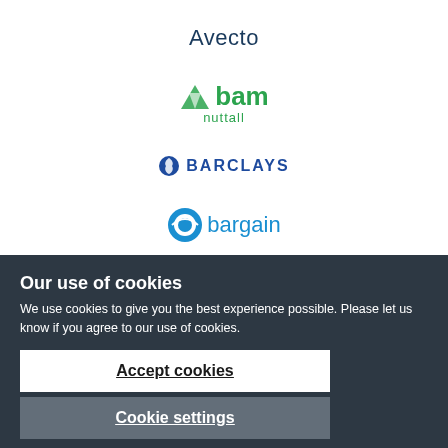[Figure (logo): Avecto company logo — text 'Avecto' in dark navy serif-style font]
[Figure (logo): BAM Nuttall company logo — green leaf icon with 'bam' in bold green and 'nuttall' below in smaller green text]
[Figure (logo): Barclays company logo — blue eagle icon and 'BARCLAYS' in bold blue uppercase text]
[Figure (logo): Bargain company logo — blue circular icon and 'bargain' in blue text, partially visible]
Our use of cookies
We use cookies to give you the best experience possible. Please let us know if you agree to our use of cookies.
Accept cookies
Cookie settings